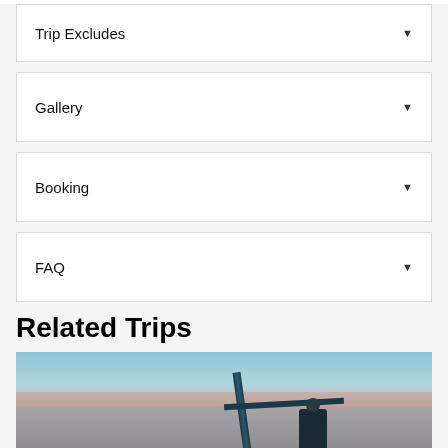Trip Excludes
Gallery
Booking
FAQ
Related Trips
[Figure (photo): A scenic photo of a lake or ocean at dusk with a dock/railing and a silhouetted figure in the foreground]